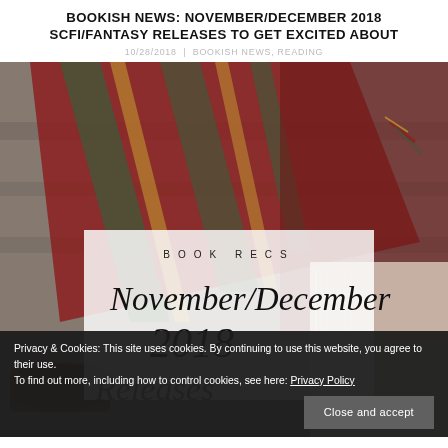BOOKISH NEWS: NOVEMBER/DECEMBER 2018 SCFI/FANTASY RELEASES TO GET EXCITED ABOUT
10/28/2018 | BOOKISH NEWS, READING
[Figure (photo): A cozy flat lay photo featuring a plaid/tartan blanket with red, green, and gold stripes draped over a wooden surface, with an open book in the background. Overlaid is a semi-transparent white box containing the text 'BOOK RECS' and 'November/December 2018 Releases to Get Excited About' in script lettering.]
Privacy & Cookies: This site uses cookies. By continuing to use this website, you agree to their use.
To find out more, including how to control cookies, see here: Privacy Policy
Close and accept